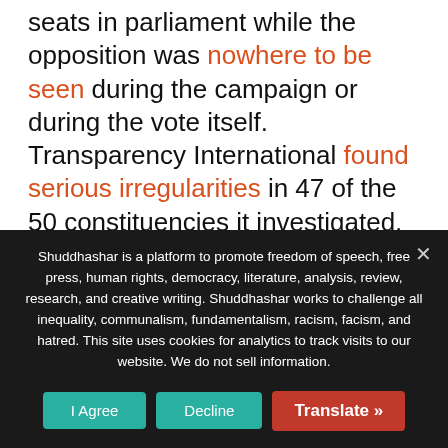seats in parliament while the opposition was nowhere to be seen during the campaign or during the vote itself. Transparency International found serious irregularities in 47 of the 50 constituencies it investigated. Most of the manipulation had been orchestrated during the weeks and months before the election, including the arrest of opposition activists on criminal charges and the refusal to accept nominations on the ground of loan defaults.
Shuddhashar is a platform to promote freedom of speech, free press, human rights, democracy, literature, analysis, review, research, and creative writing. Shuddhashar works to challenge all inequality, communalism, fundamentalism, racism, facism, and hatred. This site uses cookies for analytics to track visits to our website. We do not sell information.